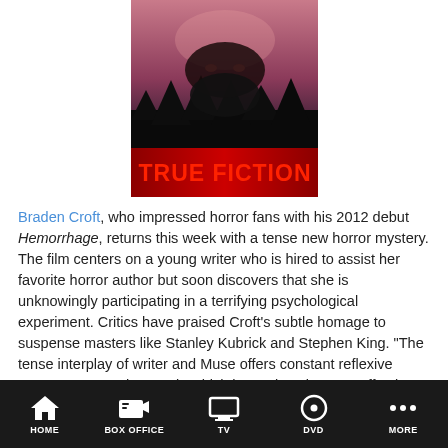[Figure (photo): Movie poster for 'True Fiction' showing a dark atmospheric horror image with a face and forest scene, with 'TRUE FICTION' in large red bold text at the bottom]
Braden Croft, who impressed horror fans with his 2012 debut Hemorrhage, returns this week with a tense new horror mystery. The film centers on a young writer who is hired to assist her favorite horror author but soon discovers that she is unknowingly participating in a terrifying psychological experiment. Critics have praised Croft’s subtle homage to suspense masters like Stanley Kubrick and Stephen King. “The tense interplay of writer and Muse offers constant reflexive commentary on the way in which horror is at its most effective
HOME   BOX OFFICE   TV   DVD   MORE